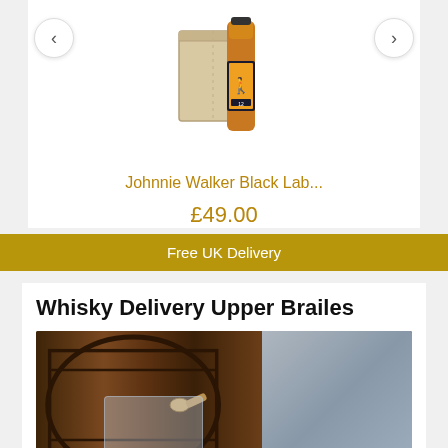[Figure (photo): Johnnie Walker Black Label whisky bottle with wooden gift box]
Johnnie Walker Black Lab...
£49.00
Free UK Delivery
Whisky Delivery Upper Brailes
[Figure (photo): Wooden whisky barrel with glass tumbler and spigot on grey stone background]